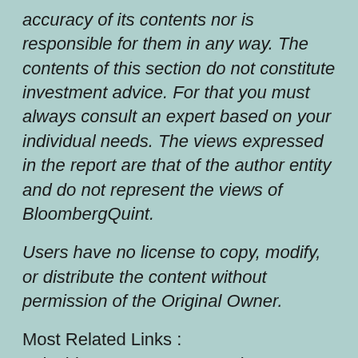accuracy of its contents nor is responsible for them in any way. The contents of this section do not constitute investment advice. For that you must always consult an expert based on your individual needs. The views expressed in the report are that of the author entity and do not represent the views of BloombergQuint.
Users have no license to copy, modify, or distribute the content without permission of the Original Owner.
Most Related Links :
todaybiznews Governmental News Finance